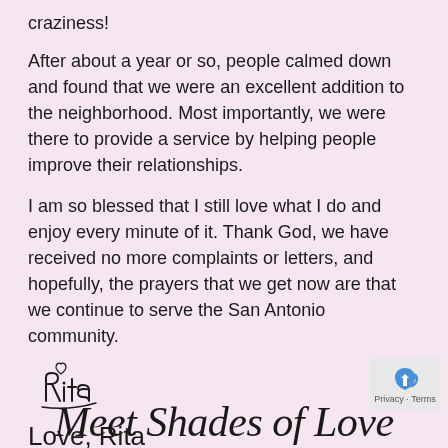craziness!
After about a year or so, people calmed down and found that we were an excellent addition to the neighborhood. Most importantly, we were there to provide a service by helping people improve their relationships.
I am so blessed that I still love what I do and enjoy every minute of it. Thank God, we have received no more complaints or letters, and hopefully, the prayers that we get now are that we continue to serve the San Antonio community.
[Figure (illustration): Cursive handwritten signature reading 'Rita' with a small heart above the i]
Love, Rita
Meet Shades of Love